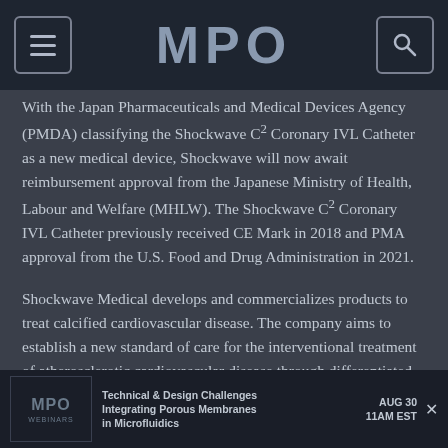MPO
With the Japan Pharmaceuticals and Medical Devices Agency (PMDA) classifying the Shockwave C² Coronary IVL Catheter as a new medical device, Shockwave will now await reimbursement approval from the Japanese Ministry of Health, Labour and Welfare (MHLW). The Shockwave C² Coronary IVL Catheter previously received CE Mark in 2018 and PMA approval from the U.S. Food and Drug Administration in 2021.
Shockwave Medical develops and commercializes products to treat calcified cardiovascular disease. The company aims to establish a new standard of care for the interventional treatment of atherosclerotic cardiovascular disease through differentiated and proprietary local delivery of sonic pressure waves for the treatment of
[Figure (infographic): MPO Webinars advertisement banner: Technical & Design Challenges Integrating Porous Membranes in Microfluidics, AUG 30 11AM EST]